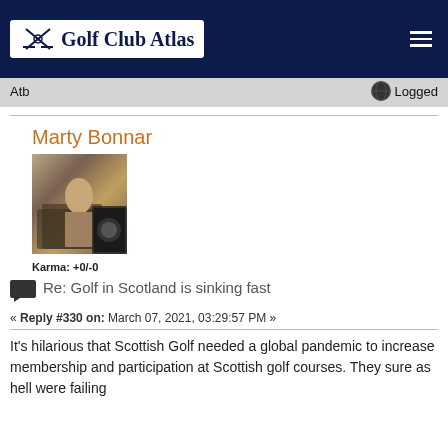Golf Club Atlas
Atb
Logged
Marty Bonnar
[Figure (photo): User avatar photo of a person near a car, vintage style]
Karma: +0/-0
Re: Golf in Scotland is sinking fast
« Reply #330 on: March 07, 2021, 03:29:57 PM »
It's hilarious that Scottish Golf needed a global pandemic to increase membership and participation at Scottish golf courses. They sure as hell were failing